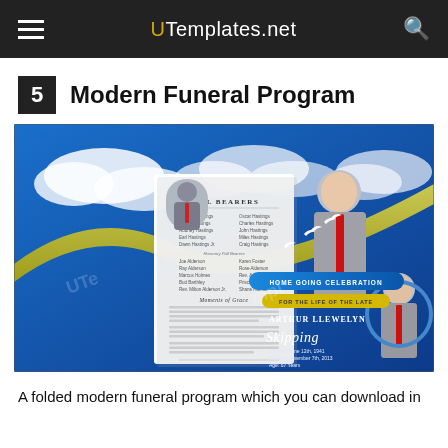UTemplates.net
5  Modern Funeral Program
[Figure (photo): A folded modern funeral program template with blue sky and clouds background, featuring doves, photos of an elderly man named Arthur Llewelyn Skipping, with sections for Pall Bearers and Home Going Celebration.]
A folded modern funeral program which you can download in